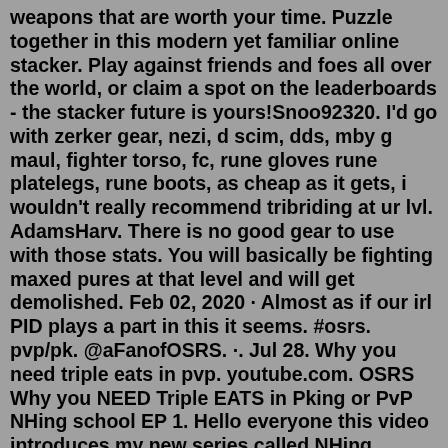weapons that are worth your time. Puzzle together in this modern yet familiar online stacker. Play against friends and foes all over the world, or claim a spot on the leaderboards - the stacker future is yours!Snoo92320. I'd go with zerker gear, nezi, d scim, dds, mby g maul, fighter torso, fc, rune gloves rune platelegs, rune boots, as cheap as it gets, i wouldn't really recommend tribriding at ur lvl. AdamsHarv. There is no good gear to use with those stats. You will basically be fighting maxed pures at that level and will get demolished. Feb 02, 2020 · Almost as if our irl PID plays a part in this it seems. #osrs. pvp/pk. @aFanofOSRS. ·. Jul 28. Why you need triple eats in pvp. youtube.com. OSRS Why you NEED Triple EATS in Pking or PvP NHing school EP 1. Hello everyone this video introduces my new series called NHing school. Nov 11, 2021 · OSRS Main PVP world PKing guide. OSRS Pking is some of the hardest and most rewarding content in the game. The true endgame, PKing involves not only being skilled at the game, but being able to outplay and counter...